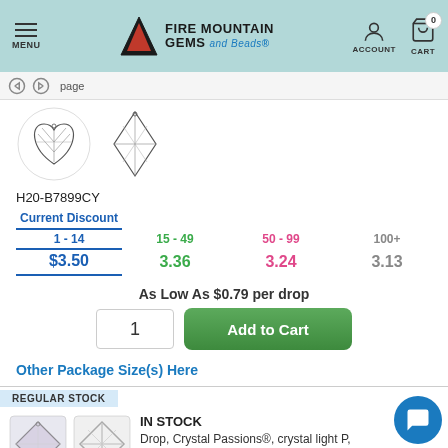Fire Mountain Gems and Beads - MENU | ACCOUNT | CART 0
[Figure (screenshot): Navigation breadcrumb bar with back/forward arrows]
[Figure (photo): Two crystal pendant product images: heart-shaped and diamond-shaped crystal pendants]
H20-B7899CY
| Current Discount | 15 - 49 | 50 - 99 | 100+ |
| --- | --- | --- | --- |
| 1 - 14 | 15 - 49 | 50 - 99 | 100+ |
| $3.50 | 3.36 | 3.24 | 3.13 |
As Low As $0.79 per drop
1
Add to Cart
Other Package Size(s) Here
REGULAR STOCK
[Figure (photo): Two crystal princess pendant product images at bottom]
IN STOCK
Drop, Crystal Passions®, crystal light P, 11.5mm faceted princess pendant (6431). Sold per pkg of 2.